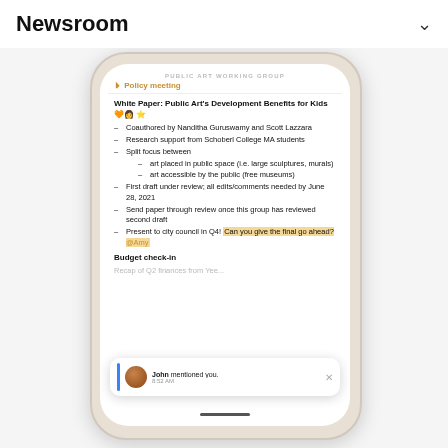Newsroom
[Figure (screenshot): Smartphone screenshot showing a messaging or collaboration app (Public Art Working Group) with a document titled 'White Paper: Public Art's Development Benefits for Kids' with bullet points listing coauthors, research support, focus areas, and action items. A notification from John reading 'John mentioned you.' at 8:52 AM appears at the bottom of the screen.]
White Paper: Public Art's Development Benefits for Kids 🧡👩‍🎨⭐
Coauthored by Nanditha Guruswamy and Scott Lazzara
Research support from Schoberl College MA students
Split focus between
art placed in public space (i.e. large sculptures, murals)
art accessible by the public (free museums)
First draft under review; all edits/comments needed by June 28, 2021
Send paper through review once this group has reviewed second draft
Present to city council in Q4! Can you give the final go ahead? @Amy
Budget check-in
Recap of Q2 finances from Yee...
John mentioned you. 8:52 AM